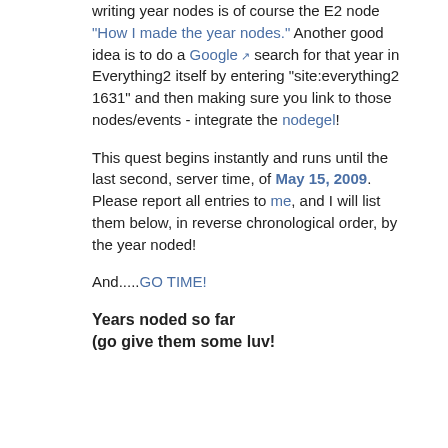writing year nodes is of course the E2 node "How I made the year nodes." Another good idea is to do a Google search for that year in Everything2 itself by entering "site:everything2 1631" and then making sure you link to those nodes/events - integrate the nodegel!
This quest begins instantly and runs until the last second, server time, of May 15, 2009. Please report all entries to me, and I will list them below, in reverse chronological order, by the year noded!
And.....GO TIME!
Years noded so far (go give them some luv!)